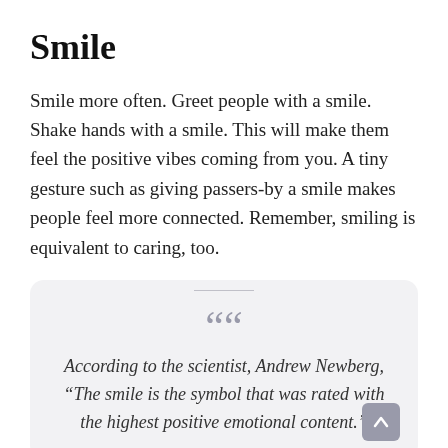Smile
Smile more often. Greet people with a smile. Shake hands with a smile. This will make them feel the positive vibes coming from you. A tiny gesture such as giving passers-by a smile makes people feel more connected. Remember, smiling is equivalent to caring, too.
“According to the scientist, Andrew Newberg, “The smile is the symbol that was rated with the highest positive emotional content.”